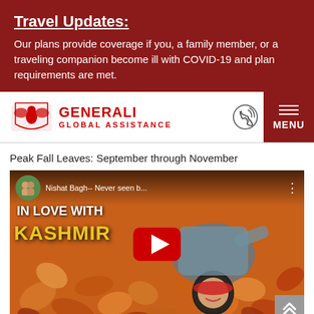Travel Updates:
Our plans provide coverage if you, a family member, or a traveling companion become ill with COVID-19 and plan requirements are met.
[Figure (logo): Generali Global Assistance logo with eagle emblem]
Peak Fall Leaves: September through November
[Figure (screenshot): YouTube video thumbnail showing 'Nishat Bagh-- Never seen b...' with Kashmir travel video, featuring a woman lying in fall leaves with YouTube play button overlay, text 'IN LOVE WITH KASHMIR' visible]